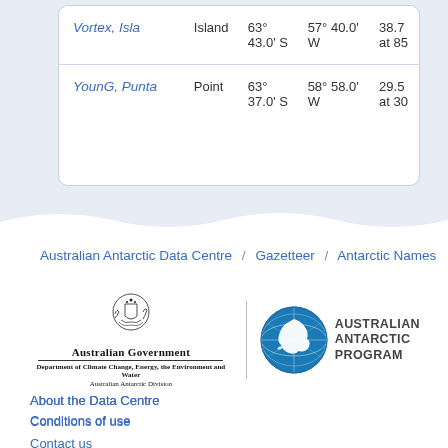| Name | Type | Latitude | Longitude | Value |
| --- | --- | --- | --- | --- |
| Vortex, Isla | Island | 63° 43.0' S | 57° 40.0' W | 38.7 at 85 |
| YounG, Punta | Point | 63° 37.0' S | 58° 58.0' W | 29.5 at 30 |
Australian Antarctic Data Centre / Gazetteer / Antarctic Names
[Figure (logo): Australian Government - Department of Climate Change, Energy, the Environment and Water - Australian Antarctic Division logo]
[Figure (logo): Australian Antarctic Program logo with blue globe showing Antarctica]
About the Data Centre
Conditions of use
Contact us
Support